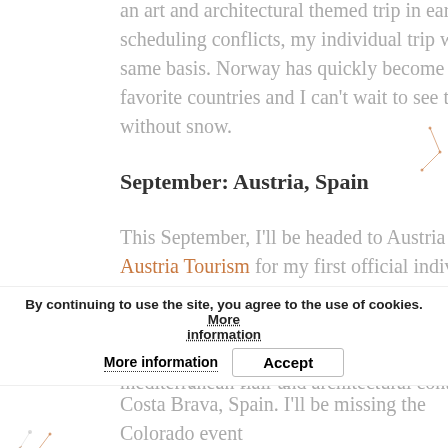an art and architectural themed trip in early July due to scheduling conflicts, my individual trip will cover the same basis. Norway has quickly become one of my favorite countries and I can't wait to see the country without snow.
September: Austria, Spain
This September, I'll be headed to Austria on behalf of Austria Tourism for my first official individual press trip. I will be traveling through Vienna, Salzburg, Graz and the Wachau Valley. I'm particularly looking forward to my days in Graz, as it has a distinctly mediterranean flair and architectural contradictions.
By continuing to use the site, you agree to the use of cookies. More information   Accept
I'm then participating in an event in Costa Brava, Spain. I'll be missing the Colorado event